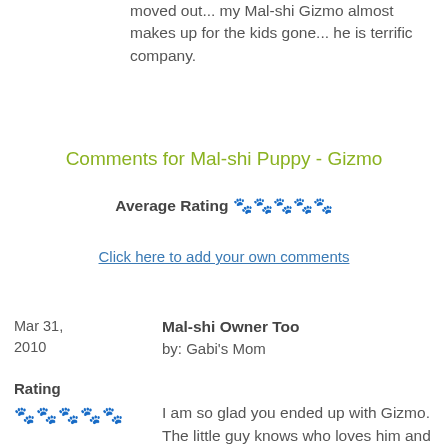moved out... my Mal-shi Gizmo almost makes up for the kids gone... he is terrific company.
Comments for Mal-shi Puppy - Gizmo
Average Rating 🐾🐾🐾🐾🐾
Click here to add your own comments
Mar 31, 2010
Mal-shi Owner Too
by: Gabi's Mom
Rating
I am so glad you ended up with Gizmo. The little guy knows who loves him and needs him. I'm not sure how the previous owners were with him, but he belongs with you. When we got Gabi (now 2 yrs old), she was 10 weeks old, little